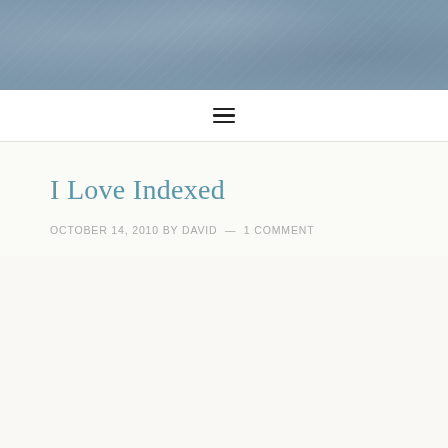[Figure (photo): Textured blue-grey header banner image with mottled appearance]
≡
I Love Indexed
OCTOBER 14, 2010 BY DAVID — 1 COMMENT